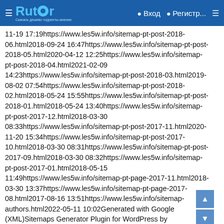Rutor — Вход — Регистр...
11-19 17:19https://www.les5w.info/sitemap-pt-post-2018-06.html2018-09-24 16:47https://www.les5w.info/sitemap-pt-post-2018-05.html2020-04-12 12:25https://www.les5w.info/sitemap-pt-post-2018-04.html2021-02-09 14:23https://www.les5w.info/sitemap-pt-post-2018-03.html2019-08-02 07:54https://www.les5w.info/sitemap-pt-post-2018-02.html2018-05-24 15:55https://www.les5w.info/sitemap-pt-post-2018-01.html2018-05-24 13:40https://www.les5w.info/sitemap-pt-post-2017-12.html2018-03-30 08:33https://www.les5w.info/sitemap-pt-post-2017-11.html2020-11-20 15:34https://www.les5w.info/sitemap-pt-post-2017-10.html2018-03-30 08:31https://www.les5w.info/sitemap-pt-post-2017-09.html2018-03-30 08:32https://www.les5w.info/sitemap-pt-post-2017-01.html2018-05-15 11:49https://www.les5w.info/sitemap-pt-page-2017-11.html2018-03-30 13:37https://www.les5w.info/sitemap-pt-page-2017-08.html2017-08-16 13:51https://www.les5w.info/sitemap-authors.html2022-05-11 10:02Generated with Google (XML)Sitemaps Generator Plugin for WordPress by